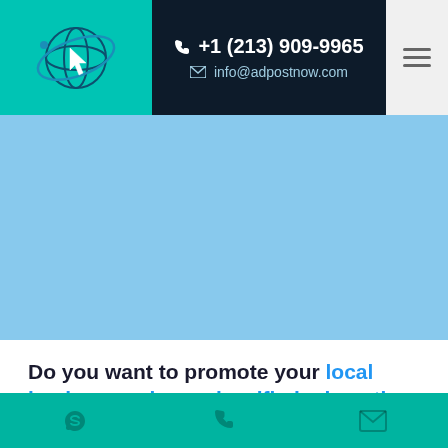[Figure (logo): Circular globe/orbit logo with teal background and white cursor icon]
+1 (213) 909-9965
info@adpostnow.com
[Figure (illustration): Light blue hero banner area]
Do you want to promote your local business using a classified ad posting service?
If yes, you are in the right place. We have the latest TECHNOLOGY and cloud setup to
Skype | Phone | Email icons